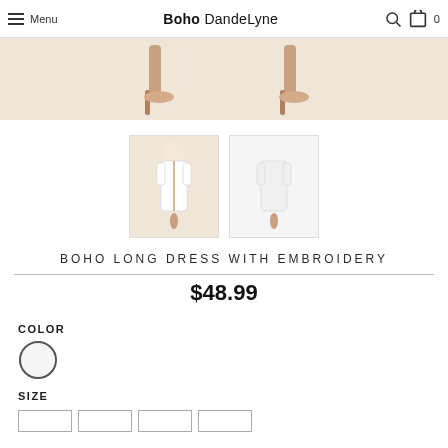Menu  Boho DandeLyne  🔍  🛒 0
[Figure (photo): Cropped image of two models wearing heeled sandals on a beige background]
[Figure (photo): Thumbnail of model wearing white boho long dress with embroidery, front view]
[Figure (photo): Thumbnail of model wearing white boho long dress with embroidery, back view]
BOHO LONG DRESS WITH EMBROIDERY
$48.99
COLOR
SIZE